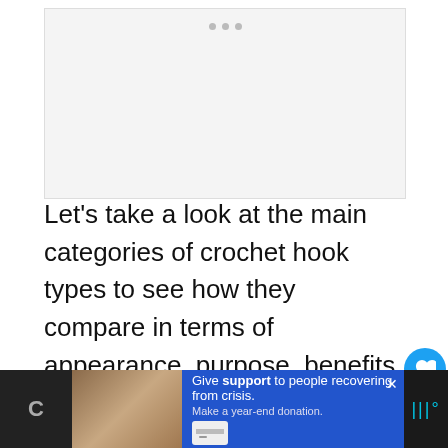[Figure (other): Gray placeholder image area with three small dots at the top center, indicating a loading or empty media slot]
Let's take a look at the main categories of crochet hook types to see how they compare in terms of appearance, purpose, benefits to the crocheter, size in millimeters, and their typical price range...
[Figure (screenshot): Advertisement banner at the bottom showing a family photo, text 'Give support to people recovering from crisis. Make a year-end donation.' on a blue background, with an X close button and a credit card icon.]